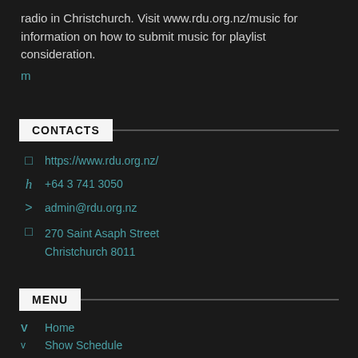radio in Christchurch. Visit www.rdu.org.nz/music for information on how to submit music for playlist consideration.
m
CONTACTS
https://www.rdu.org.nz/
+64 3 741 3050
admin@rdu.org.nz
270 Saint Asaph Street Christchurch 8011
MENU
Home
Show Schedule